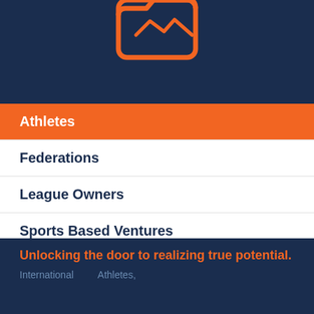[Figure (illustration): Orange rounded rectangle / folder icon on dark navy background, partially cropped at top]
Athletes
Federations
League Owners
Sports Based Ventures
Media Sports
Unlocking the door to realizing true potential.
International        Athletes,